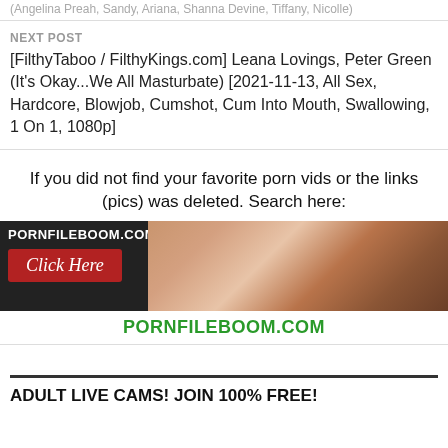(Angelina Preah, Sandy, Ariana, Shanna Devine, Tiffany, Nicolle)
NEXT POST
[FilthyTaboo / FilthyKings.com] Leana Lovings, Peter Green (It's Okay...We All Masturbate) [2021-11-13, All Sex, Hardcore, Blowjob, Cumshot, Cum Into Mouth, Swallowing, 1 On 1, 1080p]
If you did not find your favorite porn vids or the links (pics) was deleted. Search here:
[Figure (photo): Banner advertisement for PORNFILEBOOM.COM with a 'Click Here' button on red background and an adult photo on the right side]
PORNFILEBOOM.COM
ADULT LIVE CAMS! JOIN 100% FREE!